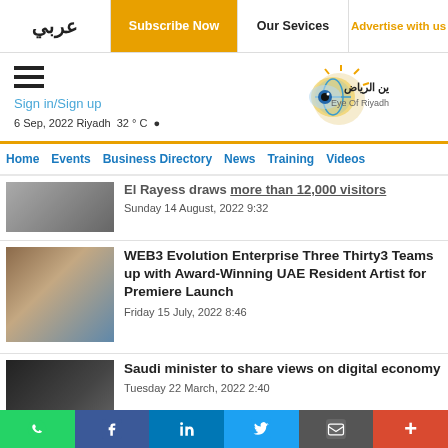عربي | Subscribe Now | Our Services | Advertise with us
[Figure (logo): Eye of Riyadh logo with Arabic text and colorful eye graphic]
Sign in/Sign up
6 Sep, 2022 Riyadh  32 ° C
Home  Events  Business Directory  News  Training  Videos
El Rayess draws more than 12,000 visitors — Sunday 14 August, 2022 9:32
WEB3 Evolution Enterprise Three Thirty3 Teams up with Award-Winning UAE Resident Artist for Premiere Launch — Friday 15 July, 2022 8:46
Saudi minister to share views on digital economy — Tuesday 22 March, 2022 2:40
Saudi Arabia launches maturity index for 12 digital platforms — Friday 10 June, 2022 5:43
WhatsApp | Facebook | LinkedIn | Twitter | Email | More